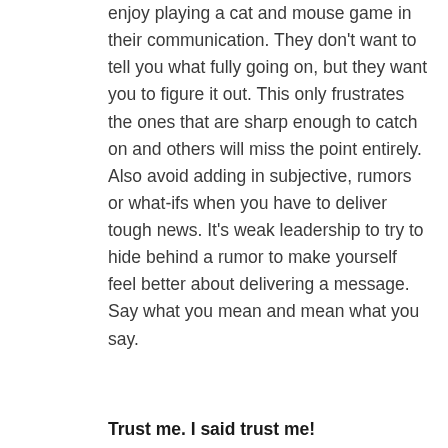enjoy playing a cat and mouse game in their communication. They don't want to tell you what fully going on, but they want you to figure it out. This only frustrates the ones that are sharp enough to catch on and others will miss the point entirely. Also avoid adding in subjective, rumors or what-ifs when you have to deliver tough news. It's weak leadership to try to hide behind a rumor to make yourself feel better about delivering a message.  Say what you mean and mean what you say.
Trust me. I said trust me!